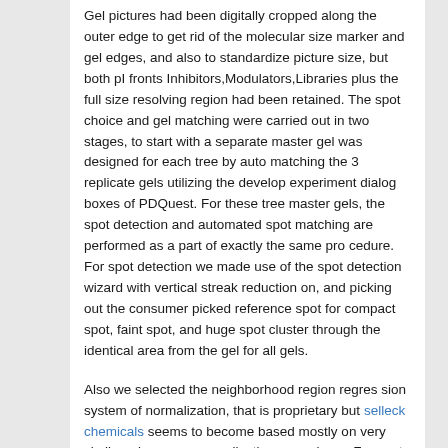Gel pictures had been digitally cropped along the outer edge to get rid of the molecular size marker and gel edges, and also to standardize picture size, but both pI fronts Inhibitors,Modulators,Libraries plus the full size resolving region had been retained. The spot choice and gel matching were carried out in two stages, to start with a separate master gel was designed for each tree by auto matching the 3 replicate gels utilizing the develop experiment dialog boxes of PDQuest. For these tree master gels, the spot detection and automated spot matching are performed as a part of exactly the same pro cedure. For spot detection we made use of the spot detection wizard with vertical streak reduction on, and picking out the consumer picked reference spot for compact spot, faint spot, and huge spot cluster through the identical area from the gel for all gels.
Also we selected the neighborhood region regres sion system of normalization, that is proprietary but selleck chemicals seems to become based mostly on very similar microarray normalization procedures. For spot matching, we defined no groups and spots have been added for the